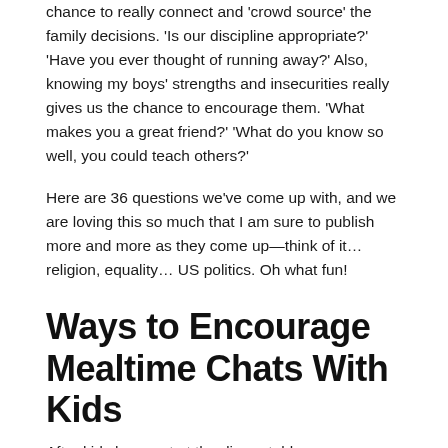chance to really connect and 'crowd source' the family decisions. 'Is our discipline appropriate?' 'Have you ever thought of running away?' Also, knowing my boys' strengths and insecurities really gives us the chance to encourage them. 'What makes you a great friend?' 'What do you know so well, you could teach others?'
Here are 36 questions we've come up with, and we are loving this so much that I am sure to publish more and more as they come up—think of it… religion, equality… US politics. Oh what fun!
Ways to Encourage Mealtime Chats With Kids
After kids have sat at the dinner table…